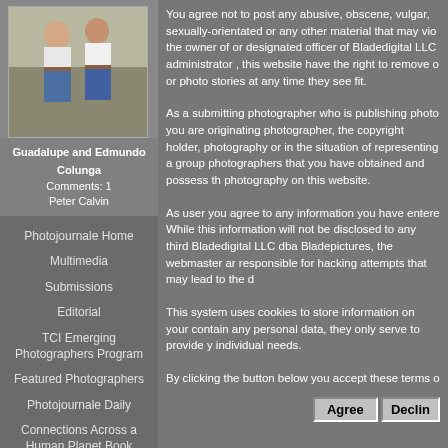[Figure (photo): Photo of two men standing together, Guadalupe and Edmundo Colunga]
Guadalupe and Edmundo Colunga
Comments: 1
Peter Calvin
Photojournale Home
Multimedia
Submissions
Editorial
TCI Emerging Photographers Program
Featured Photographers
Photojournale Daily
Connections Across a Human Planet Book
You agree not to post any abusive, obscene, vulgar, sexually-orientated or any other material that may violate the owner of or designated officer of Bladedigital LLC administrator , this website have the right to remove or photo stories at any time they see fit.
As a submitting photographer who is publishing photo you are originating photographer, the copyright holder, photography or in the situation of representing a group photographers that you have obtained and possess the photography on this website.
As user you agree to any information you have entered. While this information will not be disclosed to any third Bladedigital LLC dba Bladepictures, the webmaster are responsible for hacking attempts that may lead to the data.
This system uses cookies to store information on your contain any personal data, they only serve to provide your individual needs.
By clicking the button below you accept these terms of
Agree  Decline